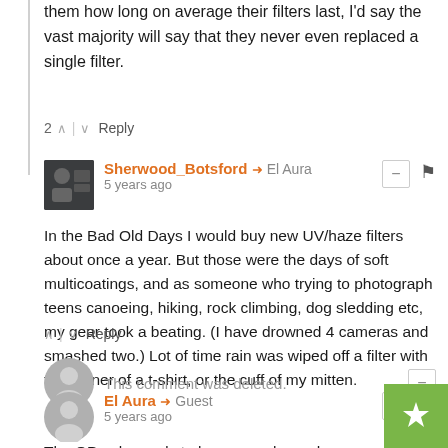them how long on average their filters last, I'd say the vast majority will say that they never even replaced a single filter.
2 ∧ | ∨ Reply
Sherwood_Botsford → El Aura
5 years ago
In the Bad Old Days I would buy new UV/haze filters about once a year. But those were the days of soft multicoatings, and as someone who trying to photograph teens canoeing, hiking, rock climbing, dog sledding etc, my gear took a beating. (I have drowned 4 cameras and smashed two.) Lot of time rain was wiped off a filter with the corner of a t-shirt, or the cuff of my mitten.
∧ | ∨ Reply
This comment was deleted.
El Aura → Guest
5 years ago
The OP only needs to buy a new lens when something